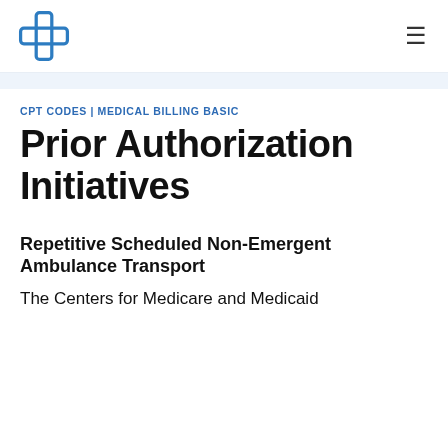Logo | Hamburger menu
CPT CODES | MEDICAL BILLING BASIC
Prior Authorization Initiatives
Repetitive Scheduled Non-Emergent Ambulance Transport
The Centers for Medicare and Medicaid